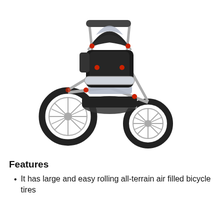[Figure (photo): A black and silver jogging stroller with three large air-filled bicycle-style wheels, a canopy, and a child tray, viewed from a slight angle.]
Features
It has large and easy rolling all-terrain air filled bicycle tires